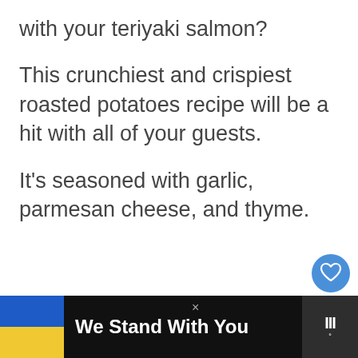with your teriyaki salmon?
This crunchiest and crispiest roasted potatoes recipe will be a hit with all of your guests.
It’s seasoned with garlic, parmesan cheese, and thyme.
[Figure (infographic): Heart (favorite) button - blue circle with white heart icon]
[Figure (infographic): Share button - white circle with share icon]
[Figure (infographic): What's Next widget showing 'What To Serve With Salmon...' with food thumbnail image]
[Figure (infographic): Advertisement banner: Ukrainian flag colors (blue and yellow), text 'We Stand With You', close X button, and logo on right]